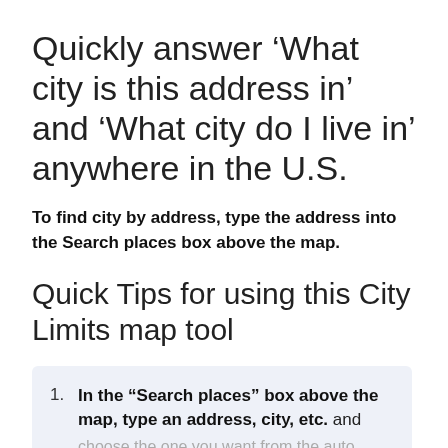Quickly answer ‘What city is this address in’ and ‘What city do I live in’ anywhere in the U.S.
To find city by address, type the address into the Search places box above the map.
Quick Tips for using this City Limits map tool
In the “Search places” box above the map, type an address, city, etc. and choose the one you want from the auto complete list*
OR: Click the map to see the city name